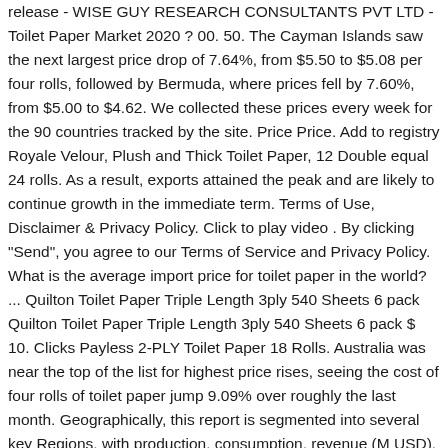release - WISE GUY RESEARCH CONSULTANTS PVT LTD - Toilet Paper Market 2020 ? 00. 50. The Cayman Islands saw the next largest price drop of 7.64%, from $5.50 to $5.08 per four rolls, followed by Bermuda, where prices fell by 7.60%, from $5.00 to $4.62. We collected these prices every week for the 90 countries tracked by the site. Price Price. Add to registry Royale Velour, Plush and Thick Toilet Paper, 12 Double equal 24 rolls. As a result, exports attained the peak and are likely to continue growth in the immediate term. Terms of Use, Disclaimer & Privacy Policy. Click to play video . By clicking "Send", you agree to our Terms of Service and Privacy Policy. What is the average import price for toilet paper in the world? ... Quilton Toilet Paper Triple Length 3ply 540 Sheets 6 pack Quilton Toilet Paper Triple Length 3ply 540 Sheets 6 pack $ 10. Clicks Payless 2-PLY Toilet Paper 18 Rolls. Australia was near the top of the list for highest price rises, seeing the cost of four rolls of toilet paper jump 9.09% over roughly the last month. Geographically, this report is segmented into several key Regions, with production, consumption, revenue (M USD), market ... Before